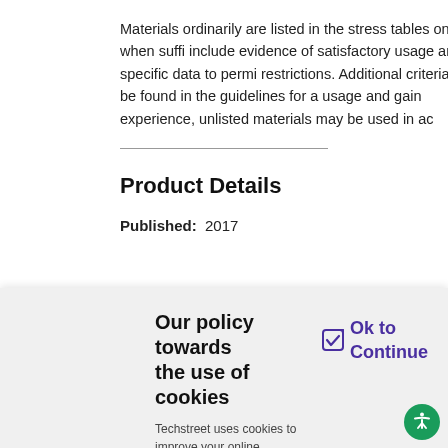Materials ordinarily are listed in the stress tables only when suffi... include evidence of satisfactory usage and specific data to permi... restrictions. Additional criteria can be found in the guidelines for a... usage and gain experience, unlisted materials may be used in ac...
Product Details
Published:  2017
Our policy towards the use of cookies
Techstreet uses cookies to improve your online experience. They were placed on your computer when you launched this website. You can change your cookie settings through your browser.
Ok to Continue